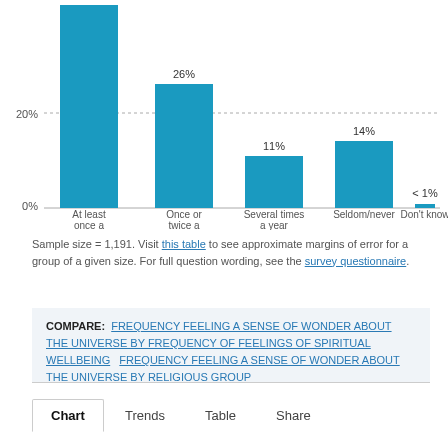[Figure (bar-chart): Frequency feeling a sense of wonder about the universe]
Sample size = 1,191. Visit this table to see approximate margins of error for a group of a given size. For full question wording, see the survey questionnaire.
COMPARE: FREQUENCY FEELING A SENSE OF WONDER ABOUT THE UNIVERSE BY FREQUENCY OF FEELINGS OF SPIRITUAL WELLBEING    FREQUENCY FEELING A SENSE OF WONDER ABOUT THE UNIVERSE BY RELIGIOUS GROUP
Chart   Trends   Table   Share